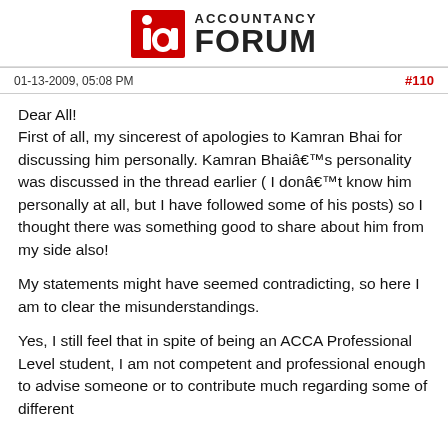[Figure (logo): Accountancy Forum logo with red stylized 'ia' icon and bold text 'ACCOUNTANCY FORUM']
01-13-2009, 05:08 PM	#110
Dear All!
First of all, my sincerest of apologies to Kamran Bhai for discussing him personally. Kamran Bhaiâs personality was discussed in the thread earlier ( I donât know him personally at all, but I have followed some of his posts) so I thought there was something good to share about him from my side also!
My statements might have seemed contradicting, so here I am to clear the misunderstandings.
Yes, I still feel that in spite of being an ACCA Professional Level student, I am not competent and professional enough to advise someone or to contribute much regarding some of different...